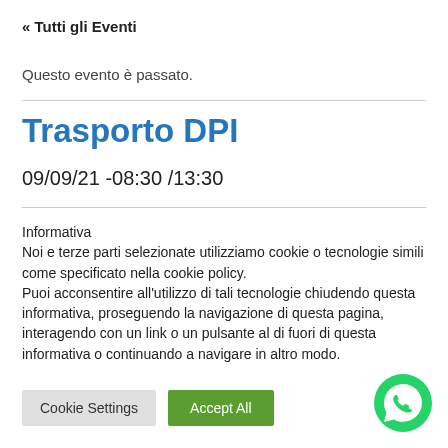« Tutti gli Eventi
Questo evento è passato.
Trasporto DPI
09/09/21 -08:30 /13:30
Informativa
Noi e terze parti selezionate utilizziamo cookie o tecnologie simili come specificato nella cookie policy.
Puoi acconsentire all'utilizzo di tali tecnologie chiudendo questa informativa, proseguendo la navigazione di questa pagina, interagendo con un link o un pulsante al di fuori di questa informativa o continuando a navigare in altro modo.
Cookie Settings
Accept All